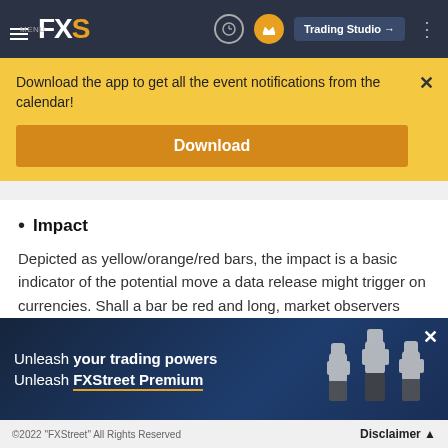FXS - FXStreet navigation bar with Trading Studio button
Download the app to get all the event notifications from the calendar!
Download
Impact
Depicted as yellow/orange/red bars, the impact is a basic indicator of the potential move a data release might trigger on currencies. Shall a bar be red and long, market observers expect this data to have great probability to move the Forex market. Shall this bar be yellow and short, the probability is
[Figure (infographic): Ad banner: Unleash your trading powers Unleash FXStreet Premium with raised fists image on dark blue background]
©2022 "FXStreet" All Rights Reserved    Disclaimer ▲